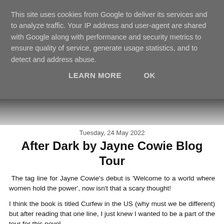This site uses cookies from Google to deliver its services and to analyze traffic. Your IP address and user-agent are shared with Google along with performance and security metrics to ensure quality of service, generate usage statistics, and to detect and address abuse.
LEARN MORE    OK
[Figure (photo): Dark grayscale image of indistinct objects, partially visible below the cookie banner]
Tuesday, 24 May 2022
After Dark by Jayne Cowie Blog Tour
The tag line for Jayne Cowie's debut is 'Welcome to a world where women hold the power', now isn't that a scary thought!
I think the book is titled Curfew in the US (why must we be different) but after reading that one line, I just knew I wanted to be a part of the tour for this novel.